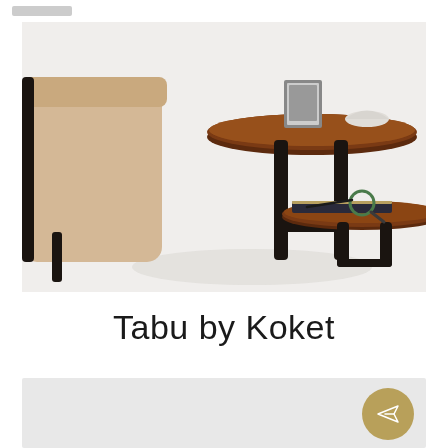[Figure (photo): Two-tiered round side table named Tabu by Koket, with dark mahogany/walnut tops and black legs, shown next to a beige upholstered chair. Upper tier has a photo frame and white bowl; lower tier has a book and magnifying glass.]
Tabu by Koket
[Figure (other): Light gray section at the bottom with a gold/bronze circular send/share button icon in the lower right corner.]